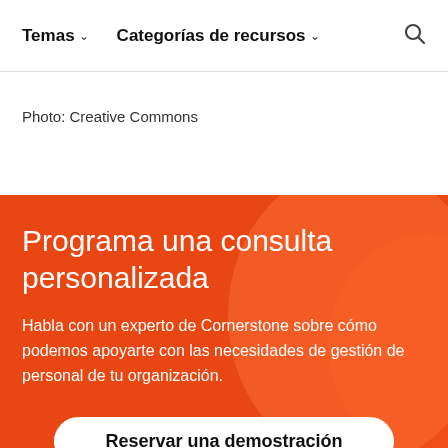Temas  Categorías de recursos  🔍
Photo: Creative Commons
Programa una consulta personalizada
Habla con un experto de Cornerstone sobre cómo podemos apoyarte con las necesidades de gestión de personal de tu organización.
Reservar una demostración